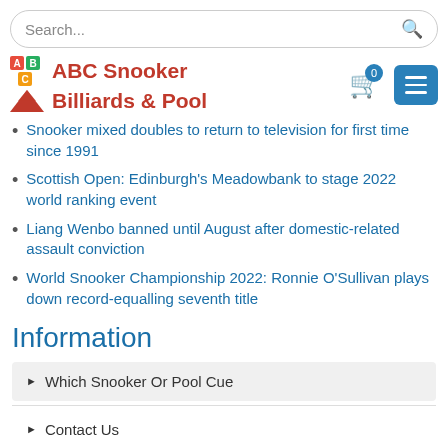Search...
[Figure (logo): ABC Snooker Billiards & Pool logo with colorful blocks and red triangle icons]
Snooker mixed doubles to return to television for first time since 1991
Scottish Open: Edinburgh's Meadowbank to stage 2022 world ranking event
Liang Wenbo banned until August after domestic-related assault conviction
World Snooker Championship 2022: Ronnie O'Sullivan plays down record-equalling seventh title
Information
Which Snooker Or Pool Cue
Contact Us
FAQ's